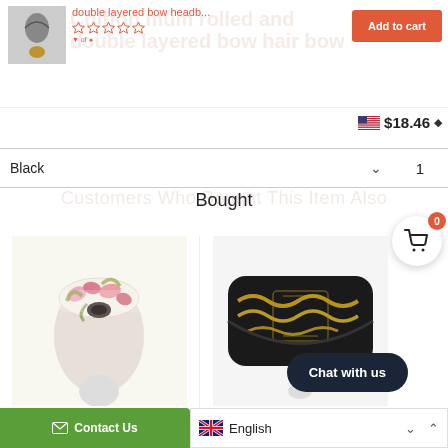[Figure (photo): Small product thumbnail of a hair bow/headband item]
double layered bow headb...
Chiffon mum rolled and double layered bow hair bow
☆☆☆☆☆
Add to cart
$18.46 ◆
Black  1
Customers Who Bought This Item Also Bought
[Figure (photo): Floral print knotted headband on mannequin head]
big flower print headband ern ...
[Figure (photo): Black and gold chain print wide headband]
belt ch... gl sh
Chat with us
Contact Us
English